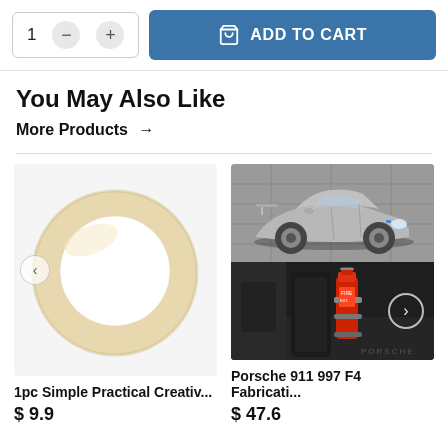[Figure (screenshot): Add to cart UI with quantity selector showing '1' with minus and plus buttons, and a blue 'ADD TO CART' button with shopping bag icon]
You May Also Like
More Products →
[Figure (photo): Product image: cream/beige circular rubber ring/gasket on white background]
[Figure (photo): Product image: two-panel image of a silver Porsche 911 997 from front-side angle (top), and interior showing red fire extinguisher mounted inside car (bottom), with right navigation arrow]
1pc Simple Practical Creativ...
$ 9.9
Porsche 911 997 F4 Fabricati...
$ 47.6